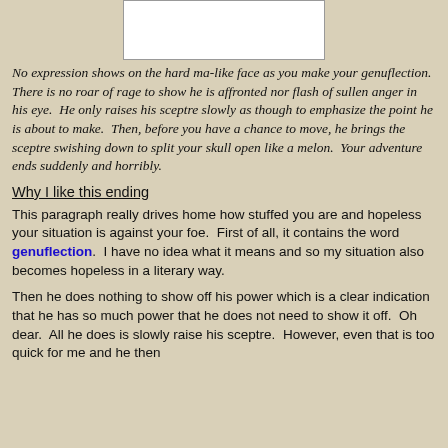[Figure (other): White rectangular image placeholder at top center of page]
No expression shows on the hard ma-like face as you make your genuflection.  There is no roar of rage to show he is affronted nor flash of sullen anger in his eye.  He only raises his sceptre slowly as though to emphasize the point he is about to make.  Then, before you have a chance to move, he brings the sceptre swishing down to split your skull open like a melon.  Your adventure ends suddenly and horribly.
Why I like this ending
This paragraph really drives home how stuffed you are and hopeless your situation is against your foe.  First of all, it contains the word genuflection.  I have no idea what it means and so my situation also becomes hopeless in a literary way.
Then he does nothing to show off his power which is a clear indication that he has so much power that he does not need to show it off.  Oh dear.  All he does is slowly raise his sceptre.  However, even that is too quick for me and he then